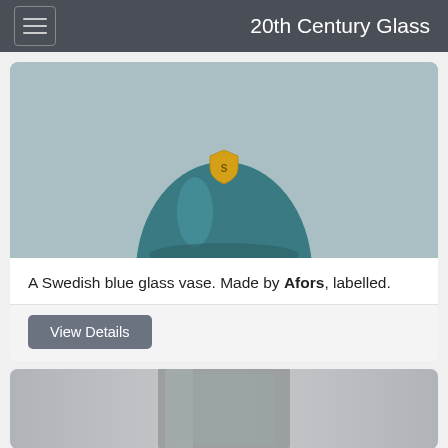20th Century Glass
[Figure (photo): A teal/blue glass vase with a gold shield-shaped label, photographed against a light grey background. The vase is rounded at the bottom and the photo shows mainly the lower half of the vase.]
A Swedish blue glass vase. Made by Afors, labelled.
View Details
[Figure (photo): A partially visible grey/smoke coloured glass vase or vessel, rectangular in shape, photographed against a light grey background. Only the top portion is visible as the image is cropped.]